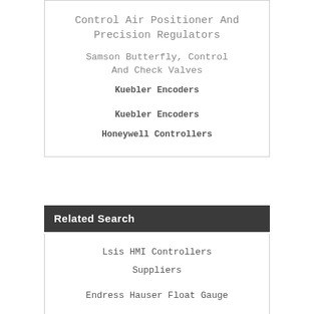Control Air Positioner And Precision Regulators
Samson Butterfly, Control And Check Valves
Kuebler Encoders
Kuebler Encoders
Honeywell Controllers
Related Search
Lsis HMI Controllers
Suppliers
Endress Hauser Float Gauge